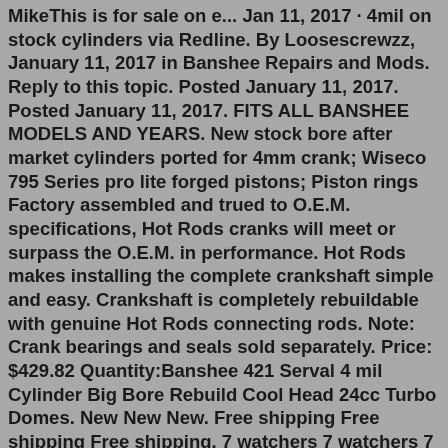MikeThis is for sale on e... Jan 11, 2017 · 4mil on stock cylinders via Redline. By Loosescrewzz, January 11, 2017 in Banshee Repairs and Mods. Reply to this topic. Posted January 11, 2017. Posted January 11, 2017. FITS ALL BANSHEE MODELS AND YEARS. New stock bore after market cylinders ported for 4mm crank; Wiseco 795 Series pro lite forged pistons; Piston rings Factory assembled and trued to O.E.M. specifications, Hot Rods cranks will meet or surpass the O.E.M. in performance. Hot Rods makes installing the complete crankshaft simple and easy. Crankshaft is completely rebuildable with genuine Hot Rods connecting rods. Note: Crank bearings and seals sold separately. Price: $429.82 Quantity:Banshee 421 Serval 4 mil Cylinder Big Bore Rebuild Cool Head 24cc Turbo Domes. New New New. Free shipping Free shipping Free shipping. 7 watchers 7 watchers 7 watchers. Banshee 68 mil 421 Big Bore Cylinders Cub Vito's 4mm 110 SHORT ROD Crank Onlt. New New New. AU $359.69. 78% off 78% off...